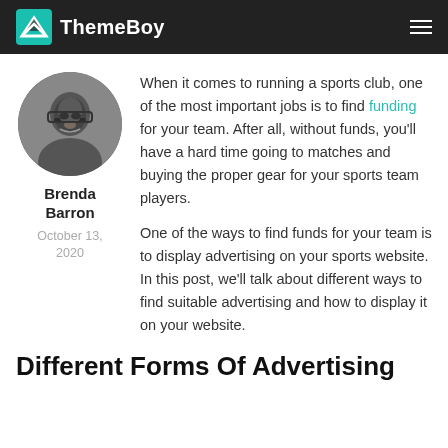ThemeBoy
[Figure (photo): Black and white circular portrait photo of Brenda Barron, a woman with glasses, smiling]
Brenda Barron
October 13, 2020
When it comes to running a sports club, one of the most important jobs is to find funding for your team. After all, without funds, you'll have a hard time going to matches and buying the proper gear for your sports team players.
One of the ways to find funds for your team is to display advertising on your sports website. In this post, we'll talk about different ways to find suitable advertising and how to display it on your website.
Different Forms Of Advertising